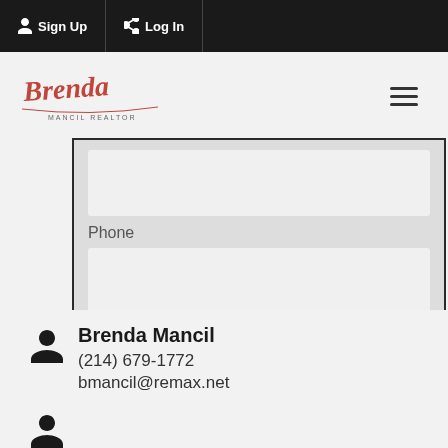Sign Up  Log In
[Figure (logo): Brenda Mancil Realtor script logo in red/pink cursive with tagline]
Phone
Brenda Mancil
(214) 679-1772
bmancil@remax.net